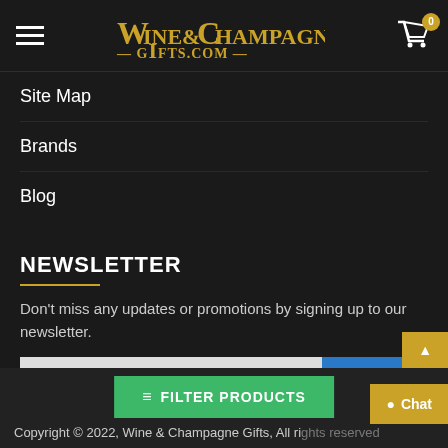Wine & Champagne Gifts .com
Site Map
Brands
Blog
NEWSLETTER
Don't miss any updates or promotions by signing up to our newsletter.
Your email  SEND
I have read and agree to the Privacy Policy
Copyright © 2022, Wine & Champagne Gifts, All rights reserved